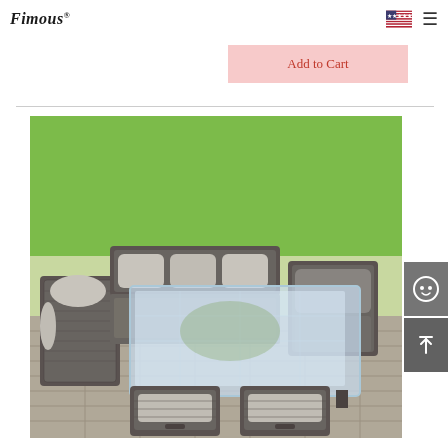Fimous [logo with flag and hamburger menu]
Add to Cart
[Figure (photo): Outdoor rattan garden furniture set with sofa, corner seats, glass dining table, two footstools/storage ottomans, and chair with cushions, arranged on a stone patio with green grass background. Grey wicker weave with light grey cushions.]